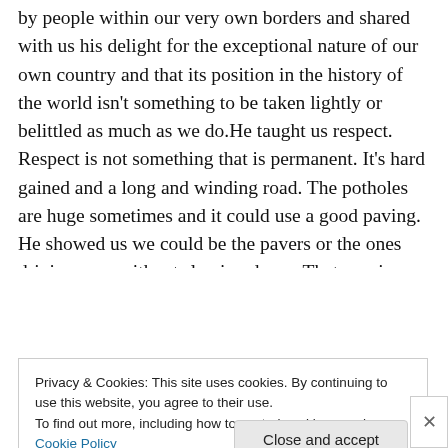by people within our very own borders and shared with us his delight for the exceptional nature of our own country and that its position in the history of the world isn't something to be taken lightly or belittled as much as we do.He taught us respect. Respect is not something that is permanent. It's hard gained and a long and winding road. The potholes are huge sometimes and it could use a good paving. He showed us we could be the pavers or the ones driving over without slowing down. That was in our hands.
[Figure (other): A blue 'Apply' button and a circular avatar image of a person]
Privacy & Cookies: This site uses cookies. By continuing to use this website, you agree to their use.
To find out more, including how to control cookies, see here: Cookie Policy
Close and accept